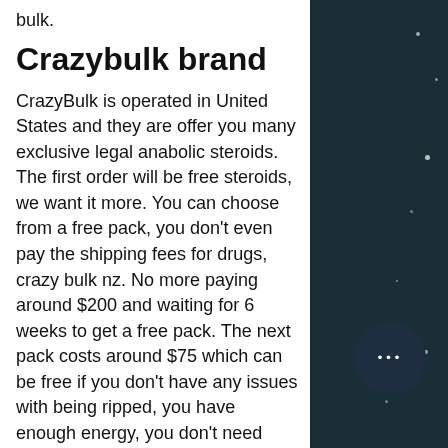bulk.
Crazybulk brand
CrazyBulk is operated in United States and they are offer you many exclusive legal anabolic steroids. The first order will be free steroids, we want it more. You can choose from a free pack, you don't even pay the shipping fees for drugs, crazy bulk nz. No more paying around $200 and waiting for 6 weeks to get a free pack. The next pack costs around $75 which can be free if you don't have any issues with being ripped, you have enough energy, you don't need anything you just get a pack, crazy bulk stack. If you are willing to take a risk and don't want to spend much money then you can order a steroid from us, crazy bulk philippines. They are safe as they only have a 50% of anabolic potential so you will be a loser, you're gonna do better than before you started using steroids.